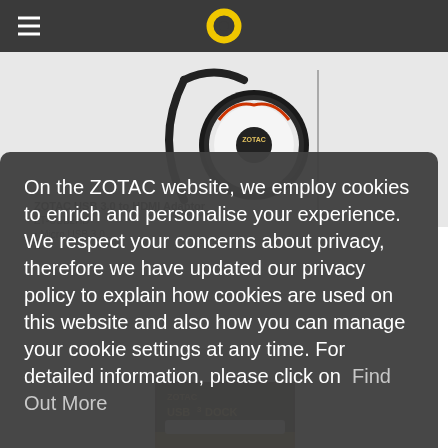ZOTAC website navigation bar with hamburger menu and logo
[Figure (photo): ZOTAC USB 3.0 to HDMI Adaptor product photo showing a disc and cable on white background]
ZOTAC USB 3.0 to HDMI Adaptor
ZT-USB2HD
Micro USB 3.0
NA
On the ZOTAC website, we employ cookies to enrich and personalise your experience. We respect your concerns about privacy, therefore we have updated our privacy policy to explain how cookies are used on this website and also how you can manage your cookie settings at any time. For detailed information, please click on Find Out More
Decline
Agree
[Figure (photo): ZOTAC USB3 Dock product box at the bottom of the page]